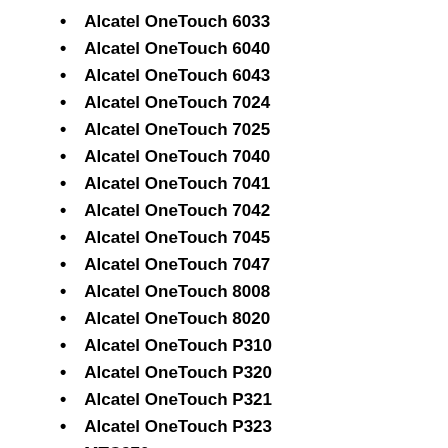Alcatel OneTouch 6033
Alcatel OneTouch 6040
Alcatel OneTouch 6043
Alcatel OneTouch 7024
Alcatel OneTouch 7025
Alcatel OneTouch 7040
Alcatel OneTouch 7041
Alcatel OneTouch 7042
Alcatel OneTouch 7045
Alcatel OneTouch 7047
Alcatel OneTouch 8008
Alcatel OneTouch 8020
Alcatel OneTouch P310
Alcatel OneTouch P320
Alcatel OneTouch P321
Alcatel OneTouch P323
MTC970
MTC975